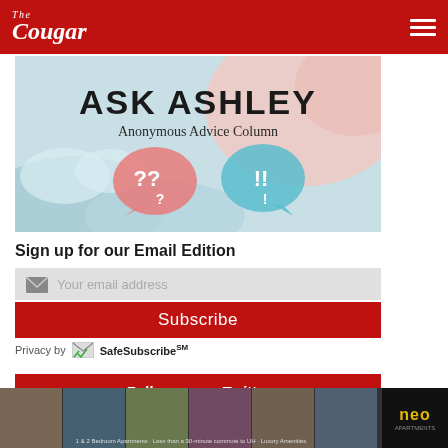The Cougar
[Figure (illustration): Ask Ashley Anonymous Advice Column banner image with speech bubbles containing question marks and exclamation points on a pastel blue and pink background]
Sign up for our Email Edition
Your email address
Subscribe
Privacy by SafeSubscribe℠
Follow us on Twitter
[Figure (photo): Advertisement banner for NEO apartments showing lifestyle photos and text: 1 & 2 Bedroom Apartments • Less than a 30-minute commute to UH • Luxury Amenities]